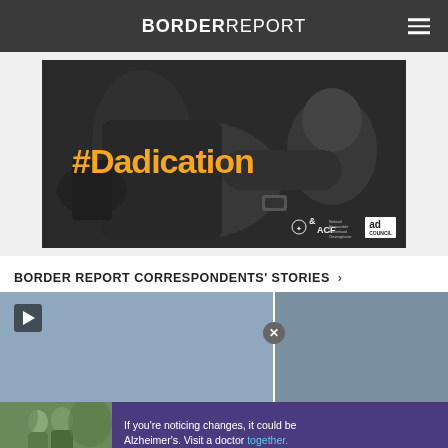BORDER REPORT
[Figure (photo): #Dadication ad: black and white photo of a man cooking while holding a baby, with text '#Dadication' in orange/gold, and logos for ACF, National Responsible Fatherhood Clearinghouse, and Ad Council]
BORDER REPORT CORRESPONDENTS' STORIES ›
[Figure (screenshot): Two video thumbnails with blue-grey backgrounds side by side, the left one has a play button icon in upper left and a close (x) button on the right edge]
[Figure (photo): Alzheimer's awareness advertisement: photo of two men outdoors, purple background with text 'If you're noticing changes, it could be Alzheimer's. Visit a doctor together.' with 'together.' in blue link color]